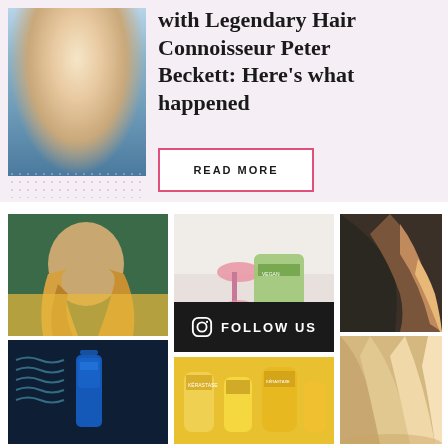[Figure (photo): Woman holding a bottle, wearing a blue floral dress, smiling]
with Legendary Hair Connoisseur Peter Beckett: Here's what happened
READ MORE
[Figure (photo): Woman with long curly blonde hair in yellow outfit]
[Figure (photo): Pink jade roller and green beauty product on white surface]
[Figure (photo): Balayage hair from behind, top portion]
FOLLOW US
[Figure (photo): Blue perfume/serum bottle on dark background]
[Figure (photo): Yellow hair oils products]
[Figure (photo): Balayage hair from behind, bottom portion]